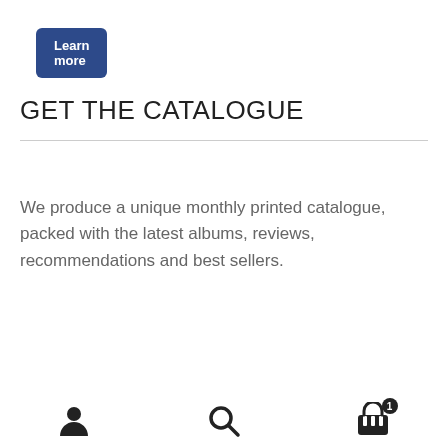[Figure (screenshot): Blue rounded button labeled 'Learn more']
GET THE CATALOGUE
We produce a unique monthly printed catalogue, packed with the latest albums, reviews, recommendations and best sellers.
[Figure (screenshot): Blue rounded button labeled 'Get the catalogue']
Bottom navigation bar with person icon, search icon, and shopping basket icon with badge '1'